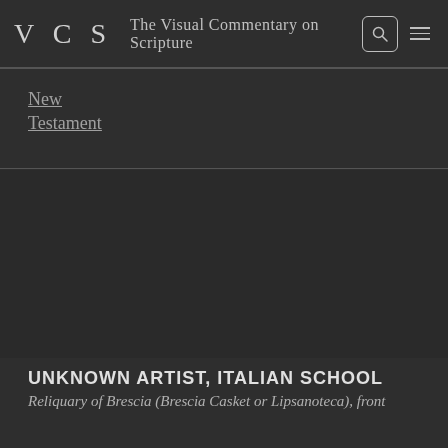VCS  The Visual Commentary on Scripture
New
Testament
[Figure (photo): Dark area representing an artwork image placeholder for the Reliquary of Brescia (Brescia Casket or Lipsanoteca), front]
UNKNOWN ARTIST, ITALIAN SCHOOL
Reliquary of Brescia (Brescia Casket or Lipsanoteca), front